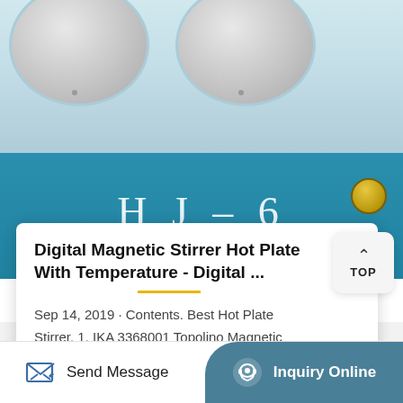[Figure (photo): Photo of HJ-6 Digital Magnetic Stirrer Hot Plate device, showing circular drum tops and a blue panel with 'HJ - 6' text in white letters, and a gold knob on the right side.]
Digital Magnetic Stirrer Hot Plate With Temperature - Digital ...
Sep 14, 2019 · Contents. Best Hot Plate Stirrer. 1. IKA 3368001 Topolino Magnetic Stirrer. 2. 110V/50Hz 78-1 Magnetism Stirrer. 3. SH-2 Hot Plate Magnetic Stirrer Mixer. 4. Scilogex 81112102 MS-H-S Analog Magnetic ...
Send Message
Inquiry Online